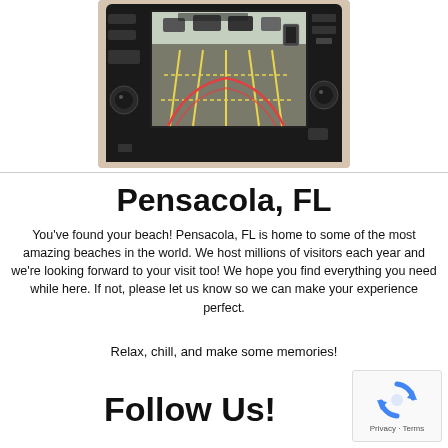[Figure (photo): Car infotainment screen showing backup camera view with yellow parking guidelines and red steering indicator lines. The screen is set in a dark dashboard with buttons and a rotary knob visible.]
Pensacola, FL
You've found your beach! Pensacola, FL is home to some of the most amazing beaches in the world. We host millions of visitors each year and we're looking forward to your visit too! We hope you find everything you need while here. If not, please let us know so we can make your experience perfect.
Relax, chill, and make some memories!
Follow Us!
[Figure (logo): reCAPTCHA badge with circular arrows logo and Privacy · Terms text]